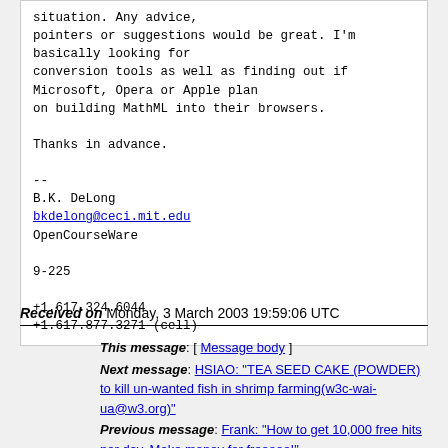situation. Any advice,
pointers or suggestions would be great. I'm
basically looking for
conversion tools as well as finding out if
Microsoft, Opera or Apple plan
on building MathML into their browsers.

Thanks in advance.

--
B.K. DeLong
bkdelong@ceci.mit.edu
OpenCourseWare

9-225

+1.617.324.6044
+1.617.877.3271 (cell)
Received on Monday, 3 March 2003 19:59:06 UTC
This message: [ Message body ]
Next message: HSIAO: "TEA SEED CAKE (POWDER) to kill un-wanted fish in shrimp farming(w3c-wai-ua@w3.org)"
Previous message: Frank: "How to get 10,000 free hits per day. Make money for freeeee!"